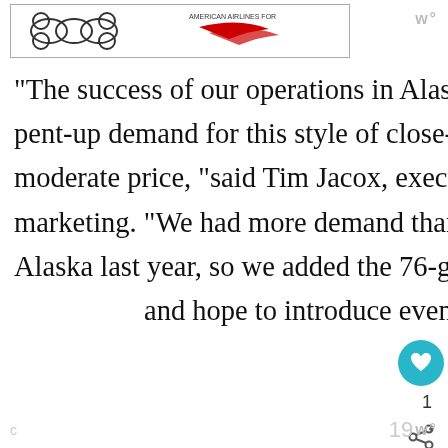[Figure (illustration): Top portion of a webpage showing a partial illustration/logo strip with cartoon-style graphic on the left (cloud/bone shapes) and a red swoosh logo element on the right, inside a bordered box. A small 'w°' logo appears top-right.]
“The success of our operations in Alaska affirms our belief that there is pent-up demand for this style of close-up, active, adventure travel at a moderate price, “said Tim Jacox, executive vice president of sales and marketing. “We had more demand than we could accommodate in Alaska last year, so we added the 76-guest Wilderness Explorer to and hope to introduce even more
c  19 w°